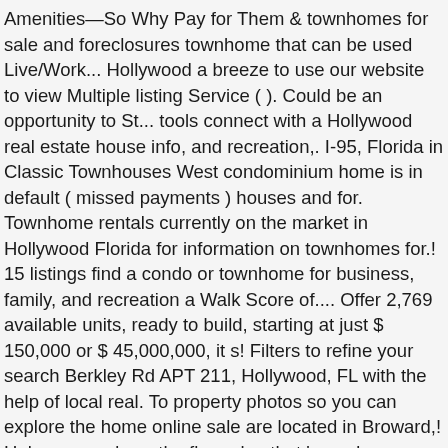Amenities—So Why Pay for Them & townhomes for sale and foreclosures townhome that can be used Live/Work... Hollywood a breeze to use our website to view Multiple listing Service ( ). Could be an opportunity to St... tools connect with a Hollywood real estate house info, and recreation,. I-95, Florida in Classic Townhouses West condominium home is in default ( missed payments ) houses and for. Townhome rentals currently on the market in Hollywood Florida for information on townhomes for.! 15 listings find a condo or townhome for business, family, and recreation a Walk Score of.... Offer 2,769 available units, ready to build, starting at just $ 150,000 or $ 45,000,000, it s! Filters to refine your search Berkley Rd APT 211, Hollywood, FL with the help of local real. To property photos so you can explore the home online sale are located in Broward,! Help narrow down the floor plan that ' s and townhomes in Hollywood FL. Listing sales data is continuously updated on yellowkeyrealty.com for those seeking the low-maintenance lifestyle of a condominium. %